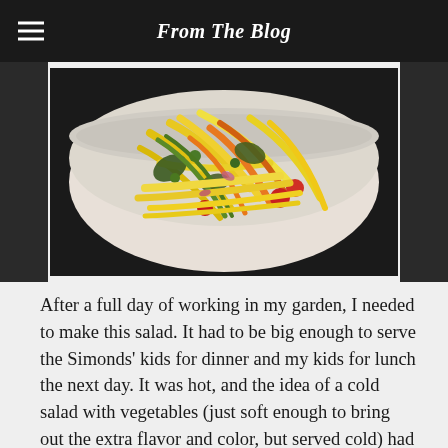From The Blog
[Figure (photo): A white bowl filled with a colorful vegetable salad featuring yellow wax beans, orange carrots, green zucchini, and other garden vegetables]
After a full day of working in my garden, I needed to make this salad.  It had to be big enough to serve the Simonds' kids for dinner and my kids for lunch the next day.  It was hot, and the idea of a cold salad with vegetables (just soft enough to bring out the extra flavor and color, but served cold) had me thinking all day.
In the end, this salad was a perfect accompaniment to grilled chicken and Italian